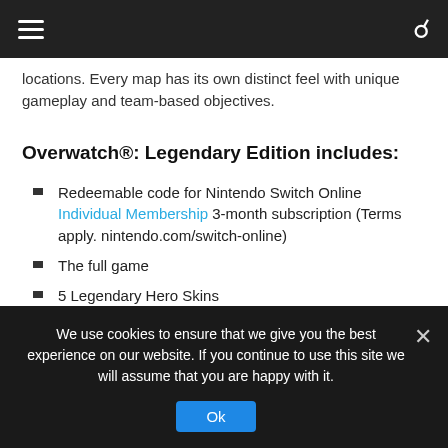Navigation bar with hamburger menu and search icon
locations. Every map has its own distinct feel with unique gameplay and team-based objectives.
Overwatch®: Legendary Edition includes:
Redeemable code for Nintendo Switch Online Individual Membership 3-month subscription (Terms apply. nintendo.com/switch-online)
The full game
5 Legendary Hero Skins
5 Epic Hero Skins
5 Origin Hero Skins
And more!
We use cookies to ensure that we give you the best experience on our website. If you continue to use this site we will assume that you are happy with it.